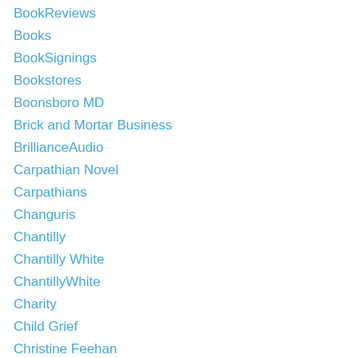BookReviews
Books
BookSignings
Bookstores
Boonsboro MD
Brick and Mortar Business
BrillianceAudio
Carpathian Novel
Carpathians
Changuris
Chantilly
Chantilly White
ChantillyWhite
Charity
Child Grief
Christine Feehan
Christine Trent
Christmas Books
Civil War Battlefields
CivilWar